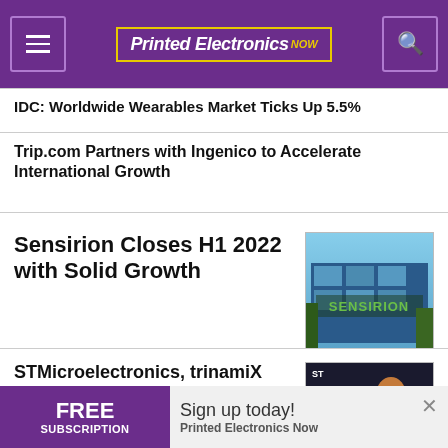Printed Electronics NOW
IDC: Worldwide Wearables Market Ticks Up 5.5%
Trip.com Partners with Ingenico to Accelerate International Growth
Sensirion Closes H1 2022 with Solid Growth
STMicroelectronics, trinamiX Collaborate on Behind-OLED Face Authentication
[Figure (screenshot): Sensirion building exterior with green logo signage]
[Figure (screenshot): STMicroelectronics and trinamiX product promotional image with person]
FREE SUBSCRIPTION — Sign up today! Printed Electronics Now